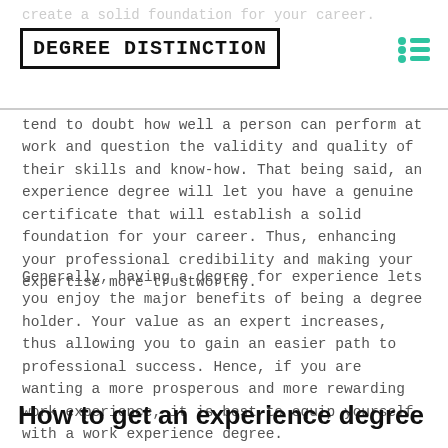create a solid foundation for your career.
DEGREE DISTINCTION
tend to doubt how well a person can perform at work and question the validity and quality of their skills and know-how. That being said, an experience degree will let you have a genuine certificate that will establish a solid foundation for your career. Thus, enhancing your professional credibility and making your expertise more trustworthy.
Generally, having a degree for experience lets you enjoy the major benefits of being a degree holder. Your value as an expert increases, thus allowing you to gain an easier path to professional success. Hence, if you are wanting a more prosperous and more rewarding work experience, it is best to equip yourself with a work experience degree.
How to get an experience degree